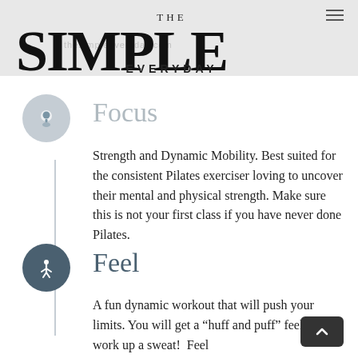THE SIMPLE EVERYDAY
Focus
Strength and Dynamic Mobility. Best suited for the consistent Pilates exerciser loving to uncover their mental and physical strength. Make sure this is not your first class if you have never done Pilates.
Feel
A fun dynamic workout that will push your limits. You will get a “huff and puff” feel and work up a sweat!  Feel